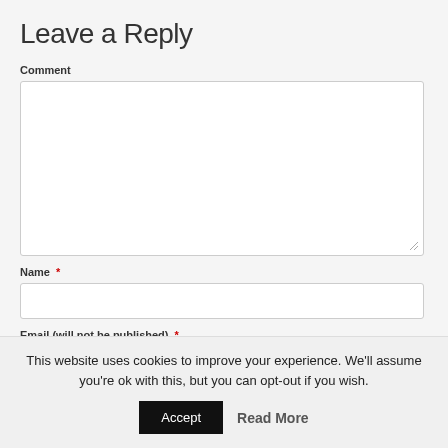Leave a Reply
Comment
Name *
Email (will not be published) *
This website uses cookies to improve your experience. We'll assume you're ok with this, but you can opt-out if you wish.
Accept   Read More